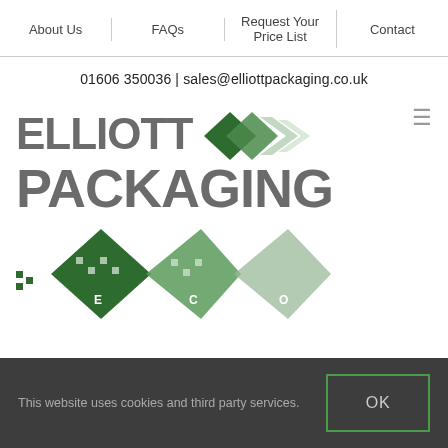About Us | FAQs | Request Your Price List | Contact
01606 350036 | sales@elliottpackaging.co.uk
[Figure (logo): Elliott Packaging logo with green diamond arrow shapes and ECO fish shapes below, tagline: Specialists in eco friendly packaging]
This website uses cookies and third party services.
OK